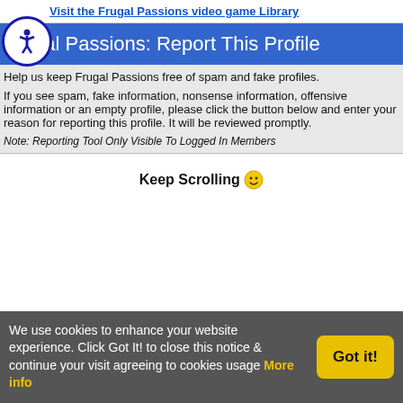Visit the Frugal Passions video game Library
Frugal Passions: Report This Profile
Help us keep Frugal Passions free of spam and fake profiles.

If you see spam, fake information, nonsense information, offensive information or an empty profile, please click the button below and enter your reason for reporting this profile. It will be reviewed promptly.
Note: Reporting Tool Only Visible To Logged In Members
Keep Scrolling 🙂
We use cookies to enhance your website experience. Click Got It! to close this notice & continue your visit agreeing to cookies usage More info